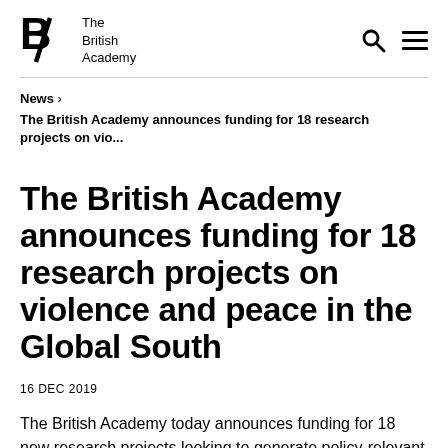The British Academy
News > The British Academy announces funding for 18 research projects on vio...
The British Academy announces funding for 18 research projects on violence and peace in the Global South
16 DEC 2019
The British Academy today announces funding for 18 new research projects looking to generate policy-relevant insights on questions of violence and peace...